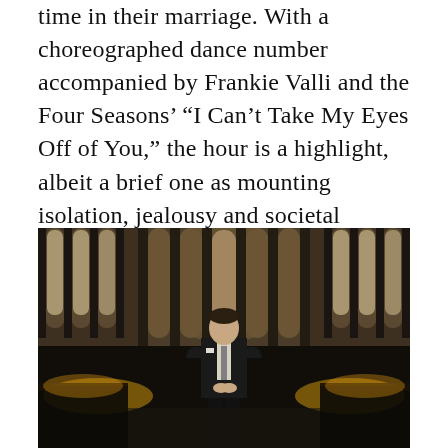time in their marriage. With a choreographed dance number accompanied by Frankie Valli and the Four Seasons' “I Can’t Take My Eyes Off of You,” the hour is a highlight, albeit a brief one as mounting isolation, jealousy and societal pressure close in on all sides.
[Figure (photo): A man in a dark suit standing in what appears to be a grand Gothic cathedral interior with ornate arched windows and warm atmospheric lighting in the background.]